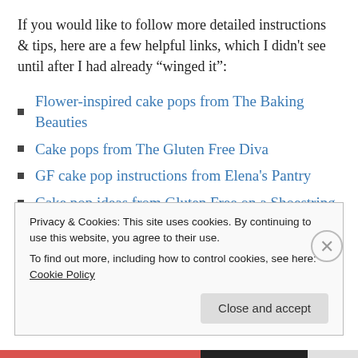If you would like to follow more detailed instructions & tips, here are a few helpful links, which I didn't see until after I had already “winged it”:
Flower-inspired cake pops from The Baking Beauties
Cake pops from The Gluten Free Diva
GF cake pop instructions from Elena's Pantry
Cake pop ideas from Gluten Free on a Shoestring
Last, but not least, I want to share (again) this gluten-free coloring page I created for your g-free kid to enjoy. (Print
Privacy & Cookies: This site uses cookies. By continuing to use this website, you agree to their use.
To find out more, including how to control cookies, see here: Cookie Policy
Close and accept